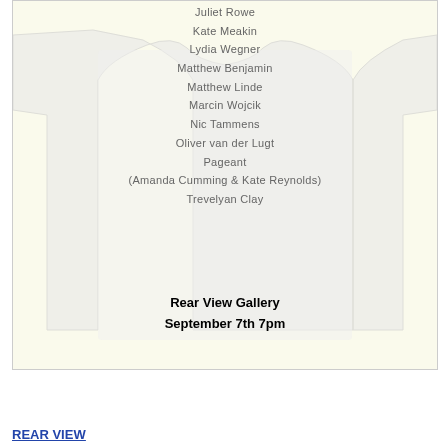[Figure (photo): A white t-shirt laid flat displaying a list of names printed on it: Juliet Rowe, Kate Meakin, Lydia Wegner, Matthew Benjamin, Matthew Linde, Marcin Wojcik, Nic Tammens, Oliver van der Lugt, Pageant (Amanda Cumming & Kate Reynolds), Trevelyan Clay. Below the shirt text reads: Rear View Gallery, September 7th 7pm. Background is cream/off-white.]
REAR VIEW